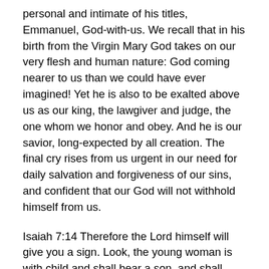personal and intimate of his titles, Emmanuel, God-with-us. We recall that in his birth from the Virgin Mary God takes on our very flesh and human nature: God coming nearer to us than we could have ever imagined! Yet he is also to be exalted above us as our king, the lawgiver and judge, the one whom we honor and obey. And he is our savior, long-expected by all creation. The final cry rises from us urgent in our need for daily salvation and forgiveness of our sins, and confident that our God will not withhold himself from us.
Isaiah 7:14 Therefore the Lord himself will give you a sign. Look, the young woman is with child and shall bear a son, and shall name him Immanuel.
Isaiah 8:8 it will sweep on into Judah as a flood, and, pouring over, it will reach up to the neck; and its outspread